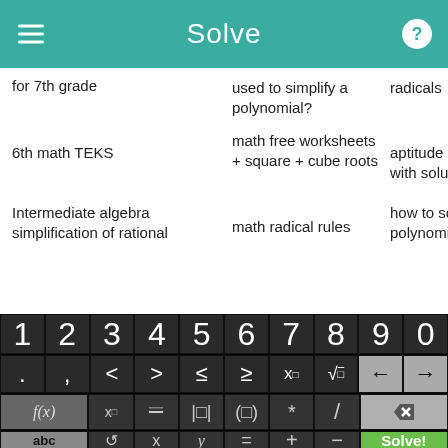Solve
for 7th grade
used to simplify a polynomial?
radicals
inte alge
6th math TEKS
math free worksheets + square + cube roots
aptitude questions with solutions
yr 8 mat
Intermediate algebra simplification of rational
math radical rules
how to solve polynomial
mix to d
[Figure (screenshot): Math calculator keyboard with digit row (1-0), symbol row (. , < > ≤ ≥ x□ √ ← →), function row (f(x) x□ fraction |□| (□) * / delete), and bottom row (abc ↺ x y = + − Solve!)]